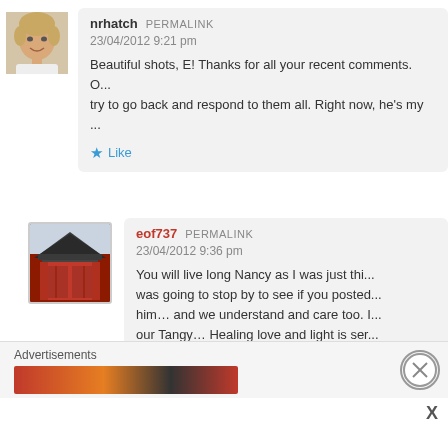[Figure (photo): Avatar photo of nrhatch, a woman with short blonde hair]
nrhatch PERMALINK
23/04/2012 9:21 pm
Beautiful shots, E! Thanks for all your recent comments. O... try to go back and respond to them all. Right now, he's my ...
Like
[Figure (photo): Avatar image of eof737, showing a Japanese temple gate (red torii/gate structure)]
eof737 PERMALINK
23/04/2012 9:36 pm
You will live long Nancy as I was just thi... was going to stop by to see if you posted... him… and we understand and care too. I... our Tangy… Healing love and light is ser...
Like
Advertisements